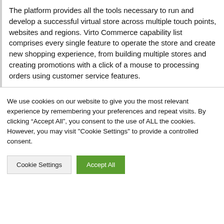The platform provides all the tools necessary to run and develop a successful virtual store across multiple touch points, websites and regions. Virto Commerce capability list comprises every single feature to operate the store and create new shopping experience, from building multiple stores and creating promotions with a click of a mouse to processing orders using customer service features.
We use cookies on our website to give you the most relevant experience by remembering your preferences and repeat visits. By clicking “Accept All”, you consent to the use of ALL the cookies. However, you may visit "Cookie Settings" to provide a controlled consent.